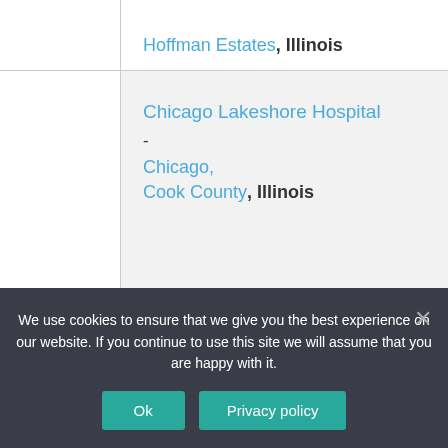|  | Hoffman Estates, Illinois |
|  | Chicago Lakeshore Hospital
-
Chicago,
Cook County, Illinois |
|  | HartGrove Hospital
-
Chicago,
Cook County, Illinois |
We use cookies to ensure that we give you the best experience on our website. If you continue to use this site we will assume that you are happy with it.